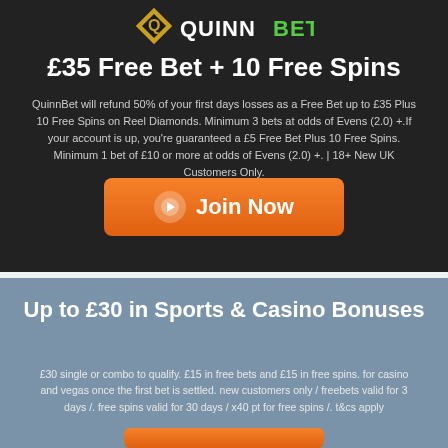[Figure (logo): QuinnBet logo with golden Q icon and white/green QUINNBET text]
£35 Free Bet + 10 Free Spins
QuinnBet will refund 50% of your first days losses as a Free Bet up to £35 Plus 10 Free Spins on Reel Diamonds. Minimum 3 bets at odds of Evens (2.0) +.If your account is up, you're guaranteed a £5 Free Bet Plus 10 Free Spins. Minimum 1 bet of £10 or more at odds of Evens (2.0) +. | 18+ New UK Customers Only.
[Figure (other): Orange Join Now button with arrow circle icon]
Up to £30 in Sports & Casino Bonuses
£30 single or combo to qualify. £15 in free bets and £15 in free spins. for casino and vegas once the first bet is settled. new customers only / freebets valid for 3 days /. free spins valid for 30 days / x40 pt for free spins /. t&cs apply